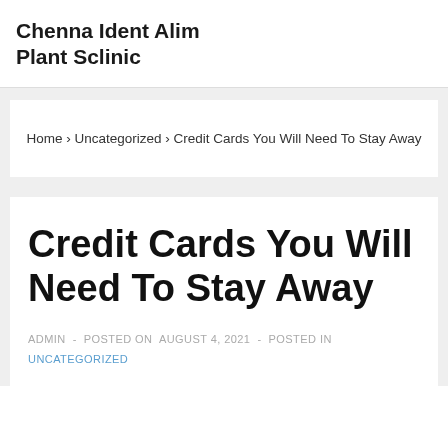Chenna Ident Alim Plant Sclinic
Home › Uncategorized › Credit Cards You Will Need To Stay Away
Credit Cards You Will Need To Stay Away
ADMIN  -  POSTED ON  AUGUST 4, 2021  -  POSTED IN  UNCATEGORIZED